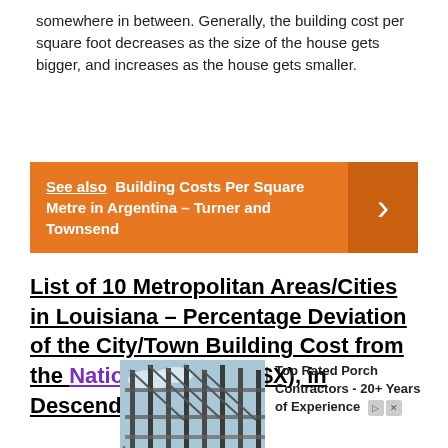somewhere in between. Generally, the building cost per square foot decreases as the size of the house gets bigger, and increases as the house gets smaller.
See also  Building Costs Per Square Metre in Argentina – Turner and Townsend
List of 10 Metropolitan Areas/Cities in Louisiana – Percentage Deviation of the City/Town Building Cost from the National Average ($X), in Descending Order:
[Figure (photo): Photo of a metal fence structure against a blue sky, used as an advertisement image for Top Rated Porch Contractors - 20+ Years of Experience]